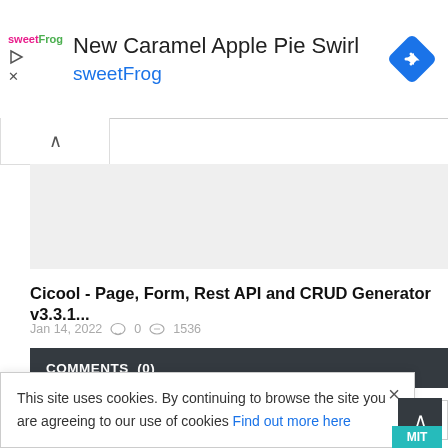[Figure (screenshot): Advertisement banner for sweetFrog featuring 'New Caramel Apple Pie Swirl' with sweetFrog logo, navigation arrow diamond icon, play and close icons]
Cicool - Page, Form, Rest API and CRUD Generator v3.3.1...
Jan 14, 2022  0  1536
COMMENTS  (0)
Comment...
This site uses cookies. By continuing to browse the site you are agreeing to our use of cookies Find out more here